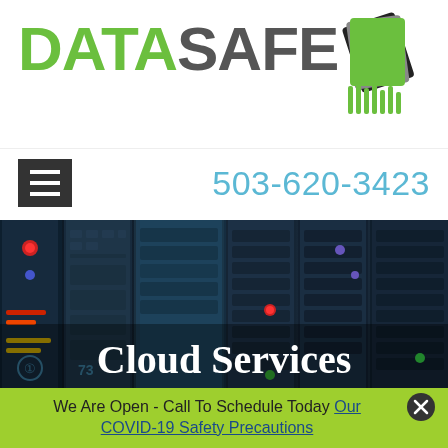[Figure (logo): DataSafe company logo with green DATA text, dark gray SAFE text, and stacked fan/shredder icon in black, gray, and green]
503-620-3423
[Figure (photo): Dark server rack equipment with blue and teal lighting, showing server panels with colored indicator lights]
Cloud Services
We Are Open - Call To Schedule Today Our COVID-19 Safety Precautions